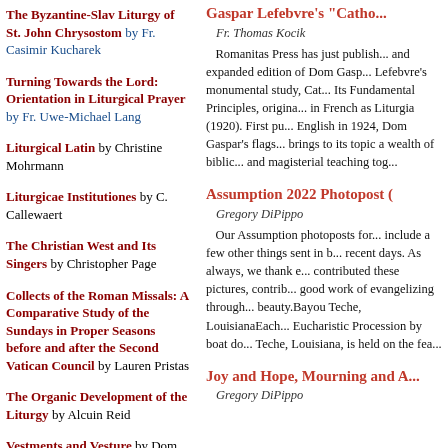The Byzantine-Slav Liturgy of St. John Chrysostom by Fr. Casimir Kucharek
Turning Towards the Lord: Orientation in Liturgical Prayer by Fr. Uwe-Michael Lang
Liturgical Latin by Christine Mohrmann
Liturgicae Institutiones by C. Callewaert
The Christian West and Its Singers by Christopher Page
Collects of the Roman Missals: A Comparative Study of the Sundays in Proper Seasons before and after the Second Vatican Council by Lauren Pristas
The Organic Development of the Liturgy by Alcuin Reid
Vestments and Vesture by Dom
Gaspar Lefebvre's 'Catho...'
Fr. Thomas Kocik
Romanitas Press has just published and expanded edition of Dom Gaspar Lefebvre's monumental study, Cat... Its Fundamental Principles, originally in French as Liturgia (1920). First published in English in 1924, Dom Gaspar's flagship study brings to its topic a wealth of biblical and magisterial teaching tog...
Assumption 2022 Photopost (
Gregory DiPippo
Our Assumption photoposts for... include a few other things sent in b... recent days. As always, we thank e... contributed these pictures, contrib... good work of evangelizing through... beauty.Bayou Teche, LouisianaEach... Eucharistic Procession by boat do... Teche, Louisiana, is held on the fea...
Joy and Hope, Mourning and A...
Gregory DiPippo